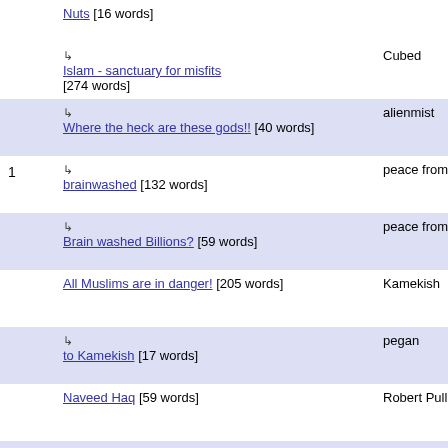|  | Title | Author | Date |
| --- | --- | --- | --- |
|  | ↳ Nuts [16 words] |  | 2006 06:27 |
|  | ↳ Islam - sanctuary for misfits [274 words] | Cubed | Aug 11, 2006 12:10 |
|  | ↳ Where the heck are these gods!! [40 words] | alienmist | Aug 21, 2006 12:51 |
| 1 | ↳ brainwashed [132 words] | peace from india. | Nov 9, 2007 00:27 |
|  | ↳ Brain washed Billions? [59 words] | peace from unverse | Aug 17, 2013 18:03 |
|  | All Muslims are in danger! [205 words] | Kamekish | Aug 10, 2006 04:12 |
|  | ↳ to Kamekish [17 words] | pegan | Aug 13, 2006 10:35 |
|  | Naveed Haq [59 words] | Robert Pulluchio | Aug 10, 2006 02:52 |
|  | ↳ Two Must Read News from Eurobia - The Guardian [2 | Abdul Rahman | Aug 12, 2006 01:37 |